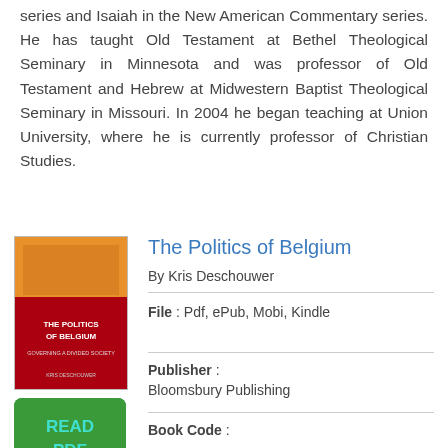series and Isaiah in the New American Commentary series. He has taught Old Testament at Bethel Theological Seminary in Minnesota and was professor of Old Testament and Hebrew at Midwestern Baptist Theological Seminary in Missouri. In 2004 he began teaching at Union University, where he is currently professor of Christian Studies.
The Politics of Belgium
By Kris Deschouwer
[Figure (illustration): Book cover of 'The Politics of Belgium' with red background]
[Figure (illustration): Green READ PDF button]
File : Pdf, ePub, Mobi, Kindle
Publisher : Bloomsbury Publishing
Book Code :